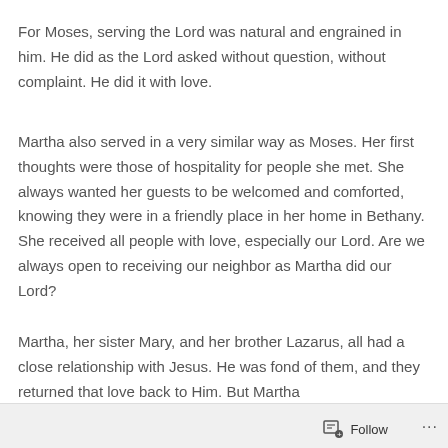For Moses, serving the Lord was natural and engrained in him. He did as the Lord asked without question, without complaint. He did it with love.
Martha also served in a very similar way as Moses. Her first thoughts were those of hospitality for people she met. She always wanted her guests to be welcomed and comforted, knowing they were in a friendly place in her home in Bethany. She received all people with love, especially our Lord. Are we always open to receiving our neighbor as Martha did our Lord?
Martha, her sister Mary, and her brother Lazarus, all had a close relationship with Jesus. He was fond of them, and they returned that love back to Him. But Martha
Follow ···